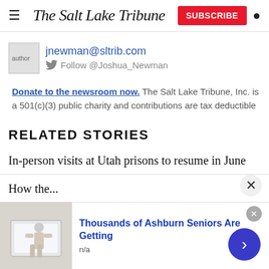The Salt Lake Tribune | SUBSCRIBE
[Figure (photo): Author avatar placeholder image]
jnewman@sltrib.com
Follow @Joshua_Newman
Donate to the newsroom now. The Salt Lake Tribune, Inc. is a 501(c)(3) public charity and contributions are tax deductible
RELATED STORIES
In-person visits at Utah prisons to resume in June
How the...
[Figure (photo): Advertisement: Thousands of Ashburn Seniors Are Getting - bathtub/walk-in tub product photo]
Thousands of Ashburn Seniors Are Getting
n/a